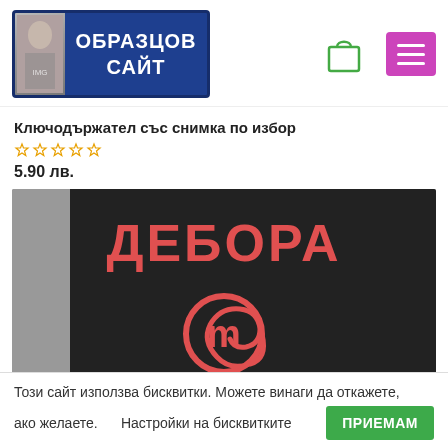[Figure (logo): Website logo banner saying ОБРАЗЦОВ САЙТ on blue background with image on left]
Ключодържател със снимка по избор
5.90 лв.
[Figure (photo): Black apron with red text ДЕБОРА and MasterChef logo]
Този сайт използва бисквитки. Можете винаги да откажете, ако желаете.      Настройки на бисквитките    ПРИЕМАМ